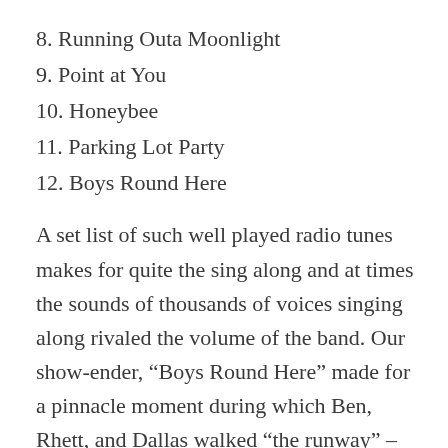8. Running Outa Moonlight
9. Point at You
10. Honeybee
11. Parking Lot Party
12. Boys Round Here
A set list of such well played radio tunes makes for quite the sing along and at times the sounds of thousands of voices singing along rivaled the volume of the band. Our show-ender, “Boys Round Here” made for a pinnacle moment during which Ben, Rhett, and Dallas walked “the runway” – high-fiving audience members while taking turns singing verses. Our shows ended with a roar of applause and minutes later our gear was packed up and under the bus. Shortly after the conclusion of our set, Luke and band brought the night home – their